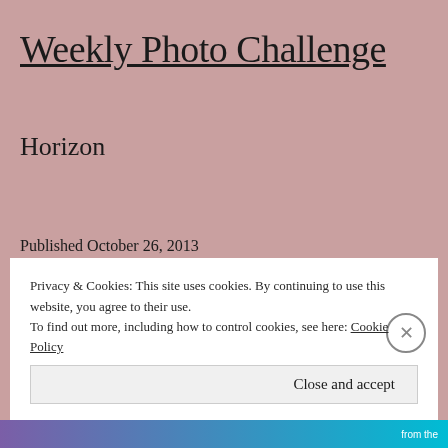Weekly Photo Challenge
Horizon
Published October 26, 2013
Categorized as Song of the Road
Tagged postaday
Privacy & Cookies: This site uses cookies. By continuing to use this website, you agree to their use. To find out more, including how to control cookies, see here: Cookie Policy
Close and accept